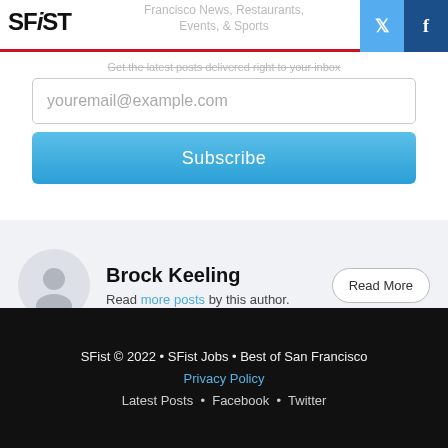SFiST – San Francisco News, Restaurants, Events, & Sports
Get the latest posts delivered right to your inbox
youremail@example.com
Subscribe
Brock Keeling
Read more posts by this author.
SFist © 2022 • SFist Jobs • Best of San Francisco
Privacy Policy
Latest Posts • Facebook • Twitter